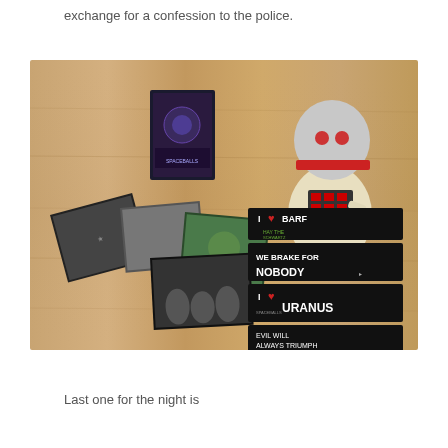exchange for a confession to the police.
[Figure (photo): Photo of Spaceballs merchandise on a wooden floor including a robot figure, DVD case, movie photos/stills, and Spaceballs bumper stickers reading 'I LOVE BARF', 'WE BRAKE FOR NOBODY', 'I LOVE URANUS', 'EVIL WILL ALWAYS TRIUMPH BECAUSE GOOD IS DUMB', and 'SPACEBALLS THE BUMPER STICKER']
Last one for the night is